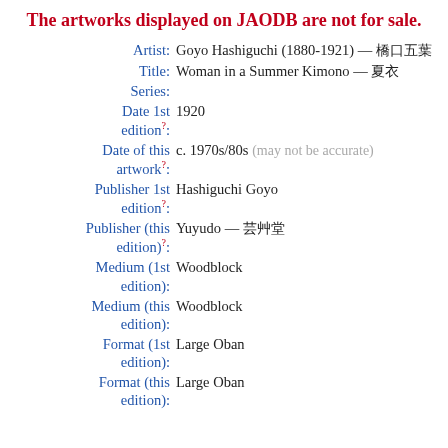The artworks displayed on JAODB are not for sale.
Artist: Goyo Hashiguchi (1880-1921) — 橋口五葉
Title: Woman in a Summer Kimono — 夏衣
Series:
Date 1st edition?: 1920
Date of this artwork?: c. 1970s/80s (may not be accurate)
Publisher 1st edition?: Hashiguchi Goyo
Publisher (this edition)?: Yuyudo — 芸艸堂
Medium (1st edition): Woodblock
Medium (this edition): Woodblock
Format (1st edition): Large Oban
Format (this edition): Large Oban